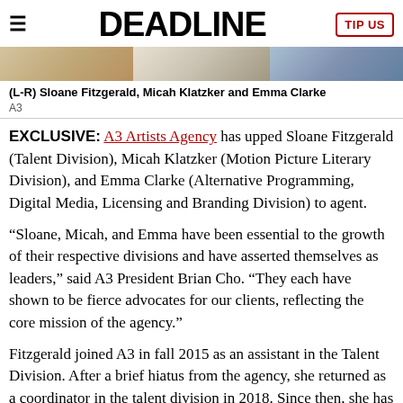DEADLINE
[Figure (photo): Cropped bottom portion of a photo showing (L-R) Sloane Fitzgerald, Micah Klatzker and Emma Clarke]
(L-R) Sloane Fitzgerald, Micah Klatzker and Emma Clarke
A3
EXCLUSIVE: A3 Artists Agency has upped Sloane Fitzgerald (Talent Division), Micah Klatzker (Motion Picture Literary Division), and Emma Clarke (Alternative Programming, Digital Media, Licensing and Branding Division) to agent.
“Sloane, Micah, and Emma have been essential to the growth of their respective divisions and have asserted themselves as leaders,” said A3 President Brian Cho. “They each have shown to be fierce advocates for our clients, reflecting the core mission of the agency.”
Fitzgerald joined A3 in fall 2015 as an assistant in the Talent Division. After a brief hiatus from the agency, she returned as a coordinator in the talent division in 2018. Since then, she has been